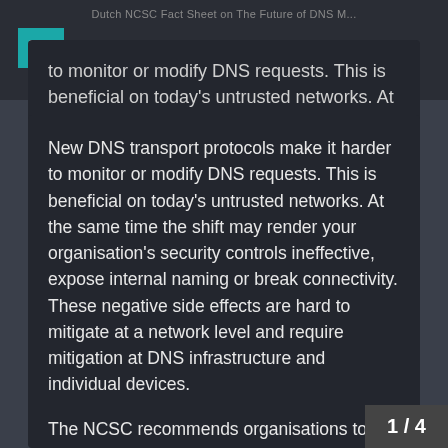Dutch NCSC Fact Sheet on The Future of DNS M...
to monitor or modify DNS requests. This is beneficial on today’s untrusted networks. At the same time the shift may render your organisation’s security controls ineffective, expose internal naming or break…
New DNS transport protocols make it harder to monitor or modify DNS requests. This is beneficial on today’s untrusted networks. At the same time the shift may render your organisation’s security controls ineffective, expose internal naming or break connectivity. These negative side effects are hard to mitigate at a network level and require mitigation at DNS infrastructure and individual devices.
The NCSC recommends organisations to decide on preferred (DNS) resolvers, configure these on devices under administrative control and take measures provided by modern DNS transport pr
1 / 4